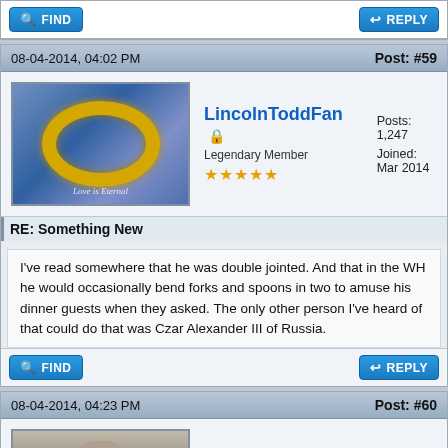[Figure (screenshot): Forum action bar with FIND and REPLY buttons at top]
08-04-2014, 04:02 PM
Post: #59
[Figure (photo): Avatar image showing a gold ring with blue background and text 'Love is Eternal']
LincolnToddFan
Legendary Member
Posts: 1,247
Joined: Mar 2014
RE: Something New
I've read somewhere that he was double jointed. And that in the WH he would occasionally bend forks and spoons in two to amuse his dinner guests when they asked. The only other person I've heard of that could do that was Czar Alexander III of Russia.
08-04-2014, 04:23 PM
Post: #60
[Figure (photo): Black and white photo of Abraham Lincoln]
RJNorton
Hero Member
Posts: 12,059
Joined: Jun 2012